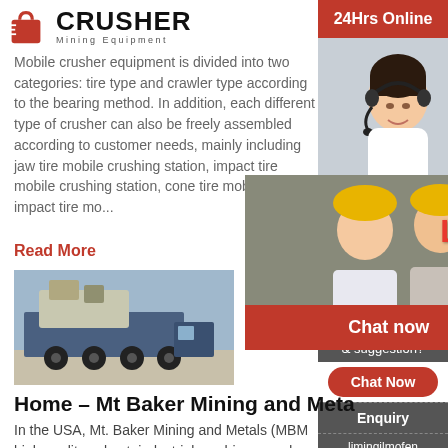[Figure (logo): Crusher Mining Equipment logo with red shopping bag icon and bold CRUSHER text]
Mobile crusher equipment is divided into two categories: tire type and crawler type according to the bearing method. In addition, each different type of crusher can also be freely assembled according to customer needs, mainly including jaw tire mobile crushing station, impact tire mobile crushing station, cone tire mobile crusher, impact tire mo...
Read More
[Figure (photo): Mobile crusher machine on a trailer truck outdoors]
[Figure (infographic): Live Chat overlay with workers in hard hats, LIVE CHAT title in red, Chat now and Chat later buttons]
Home – Mt Baker Mining and Meta
In the USA, Mt. Baker Mining and Metals (MBM high quality, robust, industrial machines used ac industries. Select an industry below to learn mo our products can help you
[Figure (infographic): Right sidebar: 24Hrs Online banner, woman with headset, Need questions & suggestion with Chat Now button, Enquiry link, limingjlmofen@sina.com email]